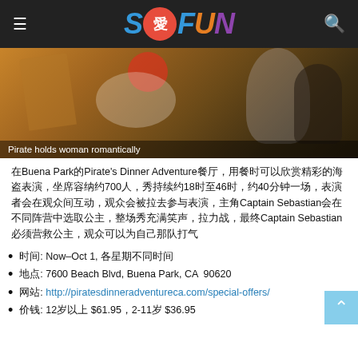SoFUN
[Figure (photo): Pirate holds woman romantically — a pirate character embracing a woman, warm dramatic lighting]
Pirate holds woman romantically
在Buena Park的Pirate's Dinner Adventure餐厅，用餐时可以欣赏精彩的海盗表演，坐席容纳约700人，秀持续约18时至46时，约40分钟一场，表演者会在观众间互动，观众会被拉去参与表演，主角Captain Sebastian会在不同阵营中选取公主，整场秀充满笑声，拉力战，最终Captain Sebastian必须营救公主，观众可以为自己那队打气
时间: Now–Oct 1, 各星期不同时间
地点: 7600 Beach Blvd, Buena Park, CA  90620
网站: http://piratesdinneradventureca.com/special-offers/
价钱: 12岁以上 $61.95，2-11岁 $36.95